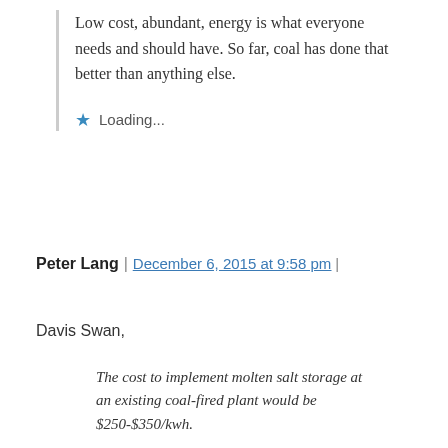Low cost, abundant, energy is what everyone needs and should have. So far, coal has done that better than anything else.
Loading...
Peter Lang | December 6, 2015 at 9:58 pm |
Davis Swan,
The cost to implement molten salt storage at an existing coal-fired plant would be $250-$350/kwh.